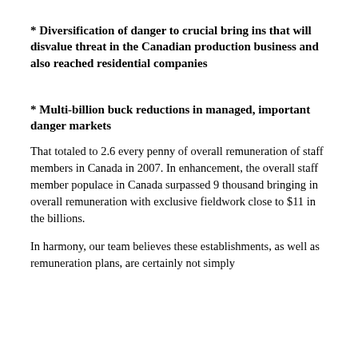* Diversification of danger to crucial bring ins that will disvalue threat in the Canadian production business and also reached residential companies
* Multi-billion buck reductions in managed, important danger markets
That totaled to 2.6 every penny of overall remuneration of staff members in Canada in 2007. In enhancement, the overall staff member populace in Canada surpassed 9 thousand bringing in overall remuneration with exclusive fieldwork close to $11 in the billions.
In harmony, our team believes these establishments, as well as remuneration plans, are certainly not simply